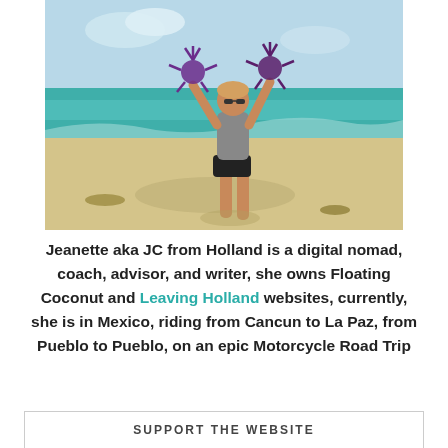[Figure (photo): Woman standing on a beach holding up sea creatures (possibly lionfish/sea urchins) above her head, wearing a gray tank top and black shorts, with turquoise ocean water and sandy beach in the background.]
Jeanette aka JC from Holland is a digital nomad, coach, advisor, and writer, she owns Floating Coconut and Leaving Holland websites, currently, she is in Mexico, riding from Cancun to La Paz, from Pueblo to Pueblo, on an epic Motorcycle Road Trip
SUPPORT THE WEBSITE